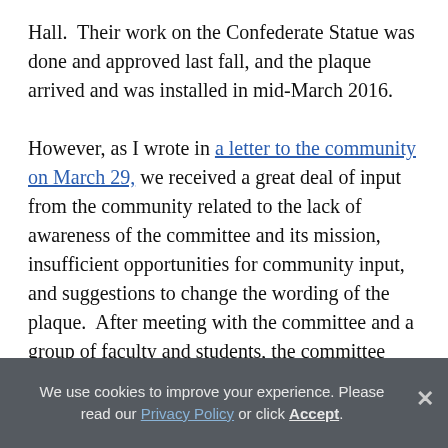Hall.  Their work on the Confederate Statue was done and approved last fall, and the plaque arrived and was installed in mid-March 2016.

However, as I wrote in a letter to the community on March 29, we received a great deal of input from the community related to the lack of awareness of the committee and its mission, insufficient opportunities for community input, and suggestions to change the wording of the plaque.  After meeting with the committee and a group of faculty and students, the committee expressed interest to consider further input and suggestions from the UM community to help determine whether the plaque should be revised and, if so, how
We use cookies to improve your experience. Please read our Privacy Policy or click Accept.